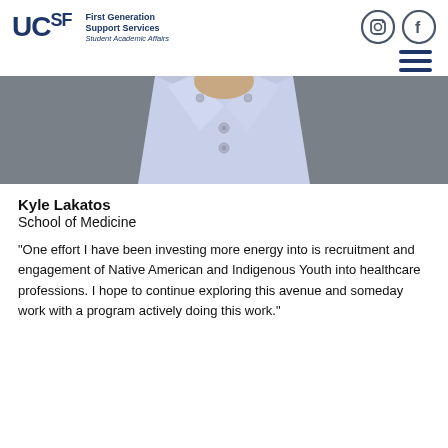UCSF First Generation Support Services Student Academic Affairs
[Figure (logo): UCSF First Generation Support Services logo with Instagram and Facebook icons and hamburger menu]
[Figure (photo): Close-up photo of a person wearing a light blue button-down dress shirt under a grey blazer, cropped to show neck/chest area only]
Kyle Lakatos
School of Medicine
"One effort I have been investing more energy into is recruitment and engagement of Native American and Indigenous Youth into healthcare professions. I hope to continue exploring this avenue and someday work with a program actively doing this work."